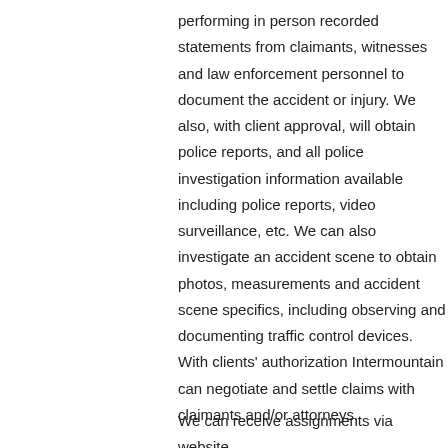performing in person recorded statements from claimants, witnesses and law enforcement personnel to document the accident or injury. We also, with client approval, will obtain police reports, and all police investigation information available including police reports, video surveillance, etc. We can also investigate an accident scene to obtain photos, measurements and accident scene specifics, including observing and documenting traffic control devices. With clients' authorization Intermountain can negotiate and settle claims with claimants and/or attorneys.
We can receive assignments via website